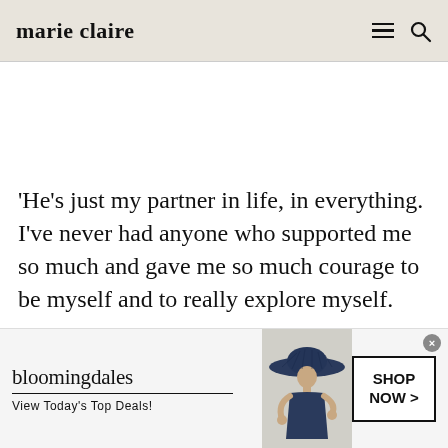marie claire
'He's just my partner in life, in everything. I've never had anyone who supported me so much and gave me so much courage to be myself and to really explore myself.
[Figure (screenshot): Bloomingdale's advertisement banner with logo, 'View Today's Top Deals!', woman in large hat, and 'SHOP NOW >' button]